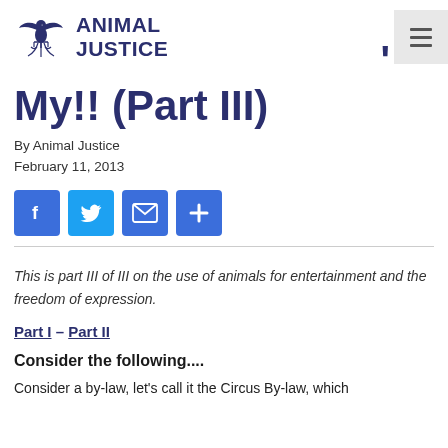Animal Justice
My!! (Part III)
By Animal Justice
February 11, 2013
[Figure (other): Social share buttons: Facebook, Twitter, Email, More]
This is part III of III on the use of animals for entertainment and the freedom of expression.
Part I – Part II
Consider the following....
Consider a by-law, let's call it the Circus By-law, which